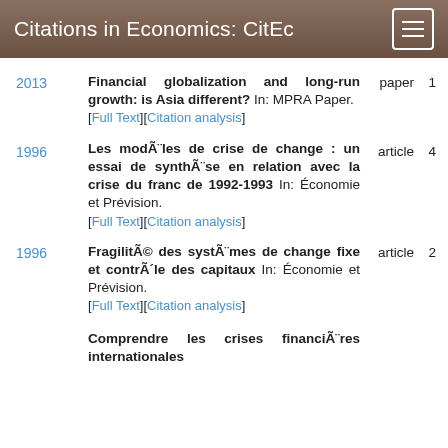Citations in Economics: CitEc
2013 | Financial globalization and long-run growth: is Asia different? In: MPRA Paper. [Full Text][Citation analysis] | paper | 1
1996 | Les modèles de crise de change : un essai de synthèse en relation avec la crise du franc de 1992-1993 In: Économie et Prévision. [Full Text][Citation analysis] | article | 4
1996 | Fragilité des systèmes de change fixe et contrôle des capitaux In: Économie et Prévision. [Full Text][Citation analysis] | article | 2
Comprendre les crises financières internationales